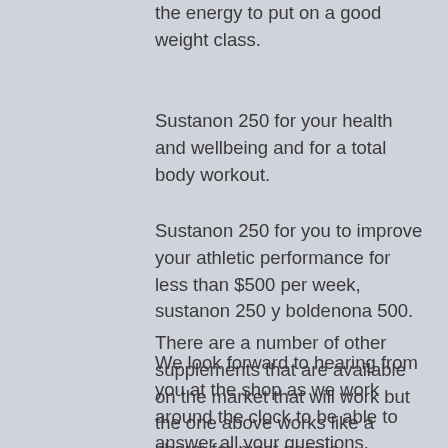the energy to put on a good weight class.
Sustanon 250 for your health and wellbeing and for a total body workout.
Sustanon 250 for you to improve your athletic performance for less than $500 per week, sustanon 250 y boldenona 500.
There are a number of other supplements that are available on the market that will work but the one above works like a charm for most people.
We look forward to hearing from you at the shop as we work around the clock to be able to answer all your questions.